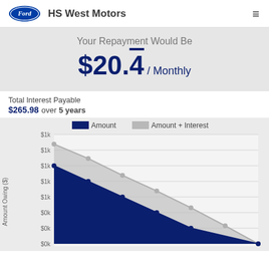Ford | HS West Motors
Your Repayment Would Be
$20.4̃ / Monthly
Total Interest Payable
$265.98 over 5 years
[Figure (area-chart): Amount Owing ($)]